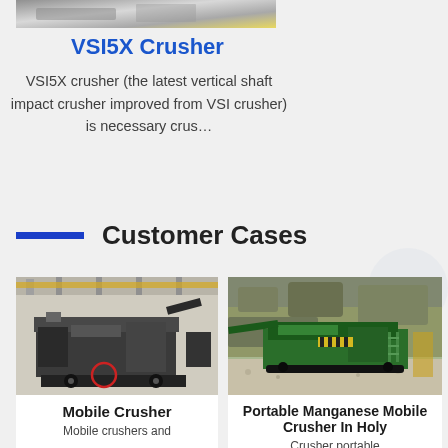[Figure (photo): Partial view of industrial equipment or machinery, cropped at top of page]
VSI5X Crusher
VSI5X crusher (the latest vertical shaft impact crusher improved from VSI crusher) is necessary crus…
Customer Cases
[Figure (photo): Industrial mobile crusher machine inside a factory warehouse with yellow overhead crane]
Mobile Crusher
Mobile crushers and
[Figure (photo): Portable green manganese mobile crusher outdoors on gravel with rocky hillside background]
Portable Manganese Mobile Crusher In Holy
Crusher portable